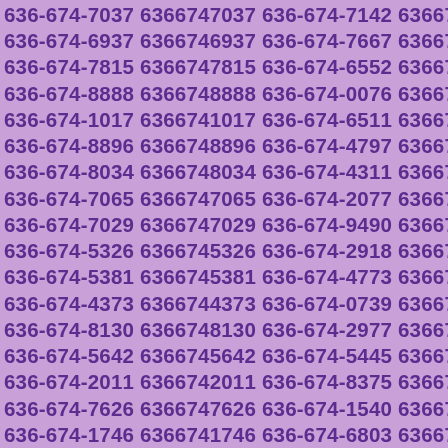636-674-7037 6366747037 636-674-7142 6366747142 636-674-6937 6366746937 636-674-7667 6366747667 636-674-7815 6366747815 636-674-6552 6366746552 636-674-8888 6366748888 636-674-0076 6366740076 636-674-1017 6366741017 636-674-6511 6366746511 636-674-8896 6366748896 636-674-4797 6366744797 636-674-8034 6366748034 636-674-4311 6366744311 636-674-7065 6366747065 636-674-2077 6366742077 636-674-7029 6366747029 636-674-9490 6366749490 636-674-5326 6366745326 636-674-2918 6366742918 636-674-5381 6366745381 636-674-4773 6366744773 636-674-4373 6366744373 636-674-0739 6366740739 636-674-8130 6366748130 636-674-2977 6366742977 636-674-5642 6366745642 636-674-5445 6366745445 636-674-2011 6366742011 636-674-8375 6366748375 636-674-7626 6366747626 636-674-1540 6366741540 636-674-1746 6366741746 636-674-6803 6366746803 636-674-1953 6366741953 636-674-1661 6366741661 636-674-7728 6366747728 636-674-6741 6366746741 636-674-4560 6366744560 636-674-3566 6366743566 636-674-8657 6366748657 636-674-1432 6366741432